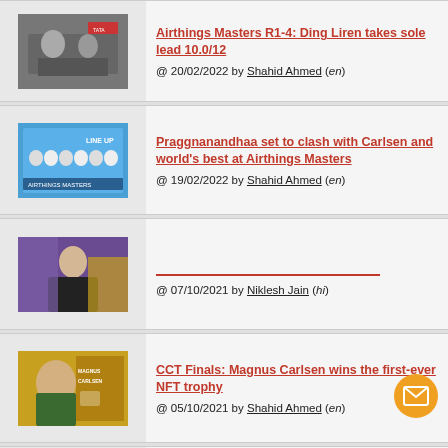[Figure (photo): Chess players at a tournament, black and white style image]
Airthings Masters R1-4: Ding Liren takes sole lead 10.0/12 @ 20/02/2022 by Shahid Ahmed (en)
[Figure (photo): Airthings Masters player lineup poster with multiple chess players]
Praggnanandhaa set to clash with Carlsen and world's best at Airthings Masters @ 19/02/2022 by Shahid Ahmed (en)
[Figure (photo): Magnus Carlsen standing in front of purple backdrop]
@ 07/10/2021 by Niklesh Jain (hi)
[Figure (photo): Magnus Carlsen NFT trophy winners graphic with golden background]
CCT Finals: Magnus Carlsen wins the first-ever NFT trophy @ 05/10/2021 by Shahid Ahmed (en)
[Figure (photo): Partial chess tournament image at bottom of page]